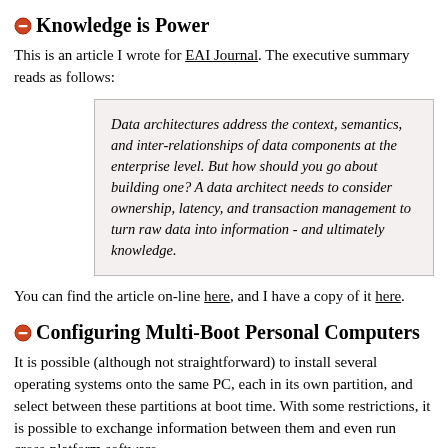Knowledge is Power
This is an article I wrote for EAI Journal. The executive summary reads as follows:
Data architectures address the context, semantics, and inter-relationships of data components at the enterprise level. But how should you go about building one? A data architect needs to consider ownership, latency, and transaction management to turn raw data into information - and ultimately knowledge.
You can find the article on-line here, and I have a copy of it here.
Configuring Multi-Boot Personal Computers
It is possible (although not straightforward) to install several operating systems onto the same PC, each in its own partition, and select between these partitions at boot time. With some restrictions, it is possible to exchange information between them and even run cross-platform software.
This technical article addresses the first challenge, that is how to install, configure and manage a PC so that it can boot up into any of several different operating systems. The article discusses disk partitioning, the